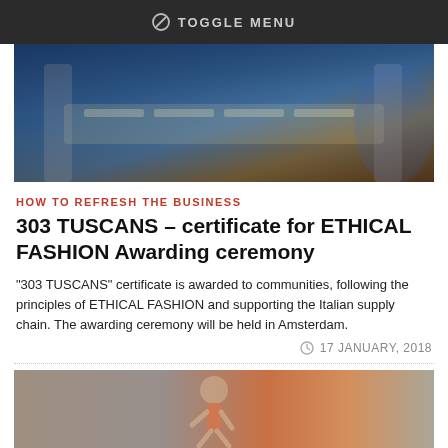TOGGLE MENU
[Figure (photo): Interior event space with long tables set for a banquet, decorated with lights and flowers, large columns visible, blue ambient lighting.]
HOW TO REFRESH THE BUSINESS
303 TUSCANS – certificate for ETHICAL FASHION Awarding ceremony
"303 TUSCANS" certificate is awarded to communities, following the principles of ETHICAL FASHION and supporting the Italian supply chain. The awarding ceremony will be held in Amsterdam.
17 JANUARY, 2018
[Figure (photo): A person running, wearing a coral/orange sports outfit, photographed from the side against a grey concrete wall background.]